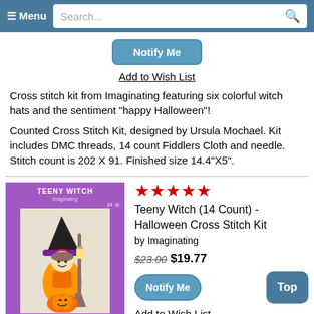≡ Menu  Search...
[Figure (screenshot): Blue Notify Me button]
Add to Wish List
Cross stitch kit from Imaginating featuring six colorful witch hats and the sentiment "happy Halloween"!
Counted Cross Stitch Kit, designed by Ursula Mochael. Kit includes DMC threads, 14 count Fiddlers Cloth and needle. Stitch count is 202 X 91. Finished size 14.4"X5".
[Figure (photo): Product image of Teeny Witch cross stitch kit with purple background showing a small witch with broom and pumpkin]
★★★★★ Teeny Witch (14 Count) - Halloween Cross Stitch Kit by Imaginating $23.00 $19.77
[Figure (screenshot): Blue Notify Me button and blue Top button]
Add to Wish List